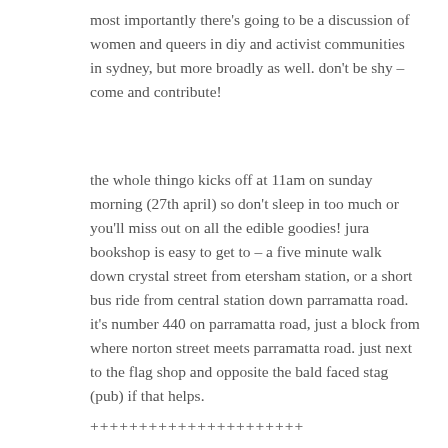most importantly there's going to be a discussion of women and queers in diy and activist communities in sydney, but more broadly as well. don't be shy – come and contribute!
the whole thingo kicks off at 11am on sunday morning (27th april) so don't sleep in too much or you'll miss out on all the edible goodies! jura bookshop is easy to get to – a five minute walk down crystal street from etersham station, or a short bus ride from central station down parramatta road. it's number 440 on parramatta road, just a block from where norton street meets parramatta road. just next to the flag shop and opposite the bald faced stag (pub) if that helps.
++++++++++++++++++++++